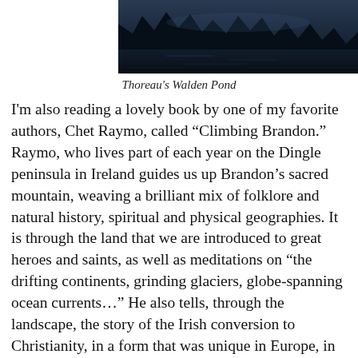[Figure (photo): Dark nighttime photograph of Thoreau's Walden Pond, showing silhouetted trees against a dark sky reflected in the water below]
Thoreau's Walden Pond
I'm also reading a lovely book by one of my favorite authors, Chet Raymo, called “Climbing Brandon.” Raymo, who lives part of each year on the Dingle peninsula in Ireland guides us up Brandon’s sacred mountain, weaving a brilliant mix of folklore and natural history, spiritual and physical geographies. It is through the land that we are introduced to great heroes and saints, as well as meditations on “the drifting continents, grinding glaciers, globe-spanning ocean currents…” He also tells, through the landscape, the story of the Irish conversion to Christianity, in a form that was unique in Europe, in that it was profoundly and intensely intellectual while at the same time rooted in the natural world – a wonderful fusion of wisdom and mystery. It’s a delight to see how the authors and all the great authors in